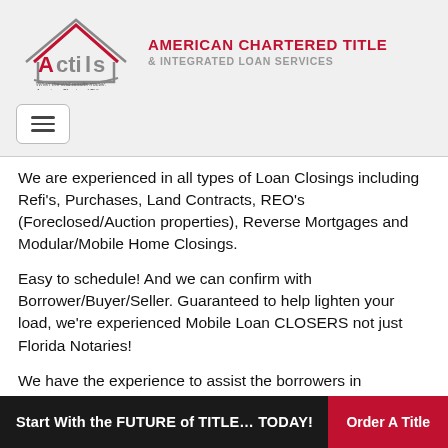[Figure (logo): ACTILS logo with house icon and tagline 'When the end results matter... American Chartered Title']
AMERICAN CHARTERED TITLE & INTEGRATED LOAN SERVICES
We are experienced in all types of Loan Closings including Refi's, Purchases, Land Contracts, REO's (Foreclosed/Auction properties), Reverse Mortgages and Modular/Mobile Home Closings.
Easy to schedule! And we can confirm with Borrower/Buyer/Seller. Guaranteed to help lighten your load, we're experienced Mobile Loan CLOSERS not just Florida Notaries!
We have the experience to assist the borrowers in
Start With the FUTURE of TITLE… TODAY! Order A Title